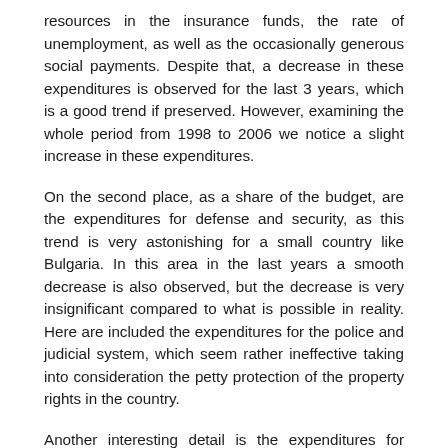resources in the insurance funds, the rate of unemployment, as well as the occasionally generous social payments. Despite that, a decrease in these expenditures is observed for the last 3 years, which is a good trend if preserved. However, examining the whole period from 1998 to 2006 we notice a slight increase in these expenditures.
On the second place, as a share of the budget, are the expenditures for defense and security, as this trend is very astonishing for a small country like Bulgaria. In this area in the last years a smooth decrease is also observed, but the decrease is very insignificant compared to what is possible in reality. Here are included the expenditures for the police and judicial system, which seem rather ineffective taking into consideration the petty protection of the property rights in the country.
Another interesting detail is the expenditures for economic activities and services, third in size, in the budget as a percentage of GDP. Here are included the different programs, subsidies for certain areas such as the